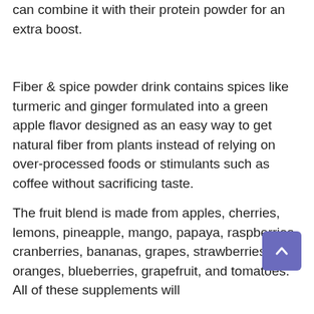can combine it with their protein powder for an extra boost.
Fiber & spice powder drink contains spices like turmeric and ginger formulated into a green apple flavor designed as an easy way to get natural fiber from plants instead of relying on over-processed foods or stimulants such as coffee without sacrificing taste.
The fruit blend is made from apples, cherries, lemons, pineapple, mango, papaya, raspberries, cranberries, bananas, grapes, strawberries, oranges, blueberries, grapefruit, and tomatoes. All of these supplements will